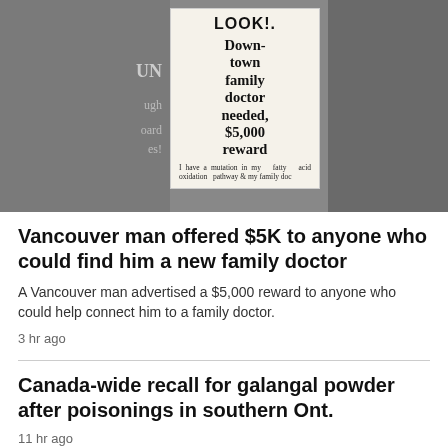[Figure (photo): A photograph showing a newspaper classified ad clipping. The ad header reads 'LOOK!' in bold, followed by the headline 'Downtown family doctor needed, $5,000 reward' and body text starting 'I have a mutation in my fatty acid oxidation pathway & my family doc...' The clipping is photographed against a blurred grey background with partial newspaper text visible.]
Vancouver man offered $5K to anyone who could find him a new family doctor
A Vancouver man advertised a $5,000 reward to anyone who could help connect him to a family doctor.
3 hr ago
Canada-wide recall for galangal powder after poisonings in southern Ont.
11 hr ago